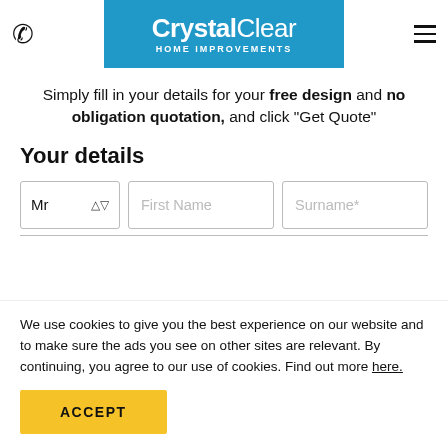CrystalClear HOME IMPROVEMENTS
Simply fill in your details for your free design and no obligation quotation, and click "Get Quote"
Your details
[Figure (screenshot): Form fields: title dropdown (Mr), First Name input, Surname* input]
We use cookies to give you the best experience on our website and to make sure the ads you see on other sites are relevant. By continuing, you agree to our use of cookies. Find out more here.
ACCEPT